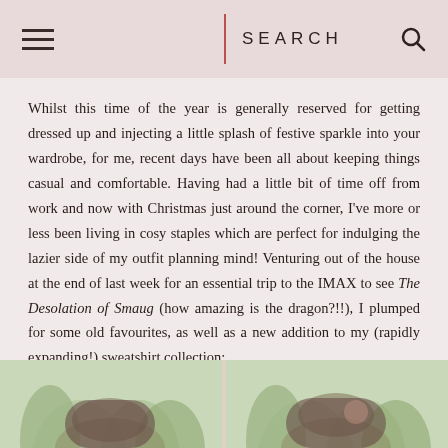SEARCH
Whilst this time of the year is generally reserved for getting dressed up and injecting a little splash of festive sparkle into your wardrobe, for me, recent days have been all about keeping things casual and comfortable. Having had a little bit of time off from work and now with Christmas just around the corner, I've more or less been living in cosy staples which are perfect for indulging the lazier side of my outfit planning mind! Venturing out of the house at the end of last week for an essential trip to the IMAX to see The Desolation of Smaug (how amazing is the dragon?!!), I plumped for some old favourites, as well as a new addition to my (rapidly expanding!) sweatshirt collection:
[Figure (photo): Two side-by-side photos of a woman with long dark hair outdoors among tall grasses or reeds, partially visible at the bottom of the page.]